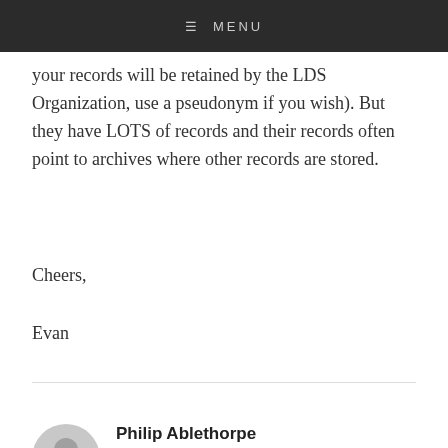☰ MENU
your records will be retained by the LDS Organization, use a pseudonym if you wish). But they have LOTS of records and their records often point to archives where other records are stored.
Cheers,
Evan
Philip Ablethorpe
October 18, 2021 at 21:28  ↵  Reply